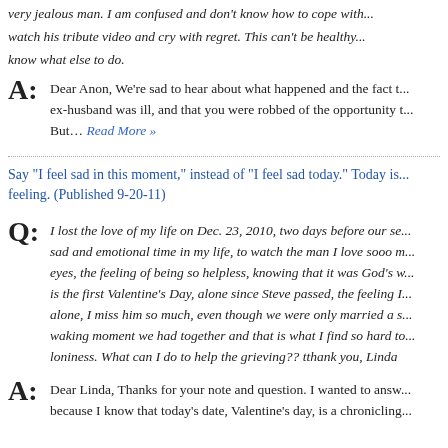very jealous man. I am confused and don't know how to cope with... watch his tribute video and cry with regret. This can't be healthy... know what else to do.
A: Dear Anon, We're sad to hear about what happened and the fact that ex-husband was ill, and that you were robbed of the opportunity to... But… Read More »
Say "I feel sad in this moment," instead of "I feel sad today." Today is... feeling. (Published 9-20-11)
Q: I lost the love of my life on Dec. 23, 2010, two days before our se... sad and emotional time in my life, to watch the man I love sooo m... eyes, the feeling of being so helpless, knowing that it was God's w... is the first Valentine's Day, alone since Steve passed, the feeling I... alone, I miss him so much, even though we were only married a s... waking moment we had together and that is what I find so hard to... loniness. What can I do to help the grieving?? tthank you, Linda
A: Dear Linda, Thanks for your note and question. I wanted to answ... because I know that today's date, Valentine's day, is a chronicling